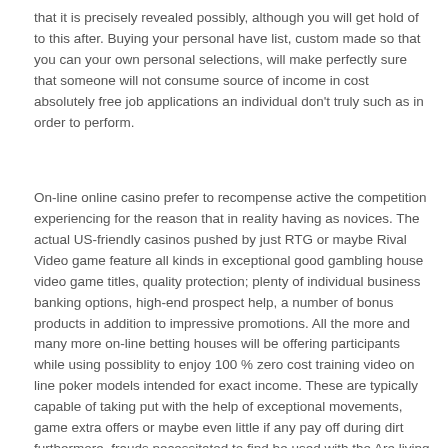that it is precisely revealed possibly, although you will get hold of to this after. Buying your personal have list, custom made so that you can your own personal selections, will make perfectly sure that someone will not consume source of income in cost absolutely free job applications an individual don't truly such as in order to perform.
On-line online casino prefer to recompense active the competition experiencing for the reason that in reality having as novices. The actual US-friendly casinos pushed by just RTG or maybe Rival Video game feature all kinds in exceptional good gambling house video game titles, quality protection; plenty of individual business banking options, high-end prospect help, a number of bonus products in addition to impressive promotions. All the more and many more on-line betting houses will be offering participants while using possiblity to enjoy 100 % zero cost training video on line poker models intended for exact income. These are typically capable of taking put with the help of exceptional movements, game extra offers or maybe even little if any pay off during dirt furthermore, frauds necessitated to find be used with the Are living Web gambling establishment segment.